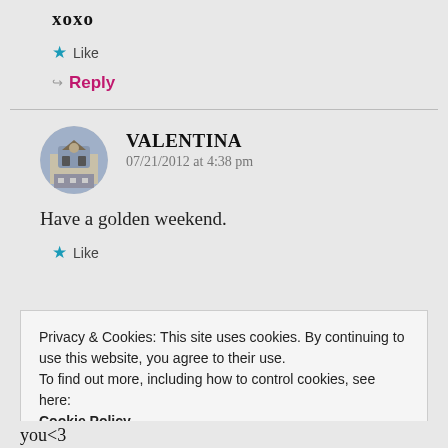xoxo
★ Like
↪ Reply
VALENTINA
07/21/2012 at 4:38 pm
Have a golden weekend.
★ Like
Privacy & Cookies: This site uses cookies. By continuing to use this website, you agree to their use.
To find out more, including how to control cookies, see here: Cookie Policy
Close and accept
you<3